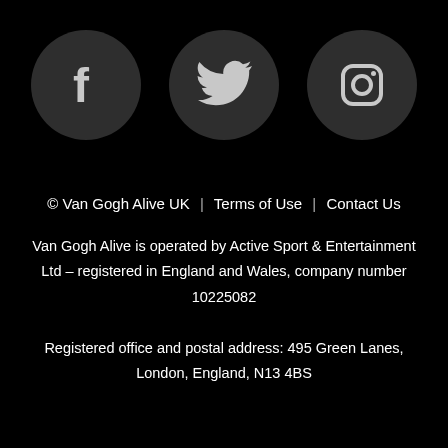[Figure (illustration): Three social media icons (Facebook, Twitter, Instagram) as white symbols on dark grey circles against a black background]
© Van Gogh Alive UK  |  Terms of Use  |  Contact Us

Van Gogh Alive is operated by Active Sport & Entertainment Ltd – registered in England and Wales, company number 10225082

Registered office and postal address: 495 Green Lanes, London, England, N13 4BS